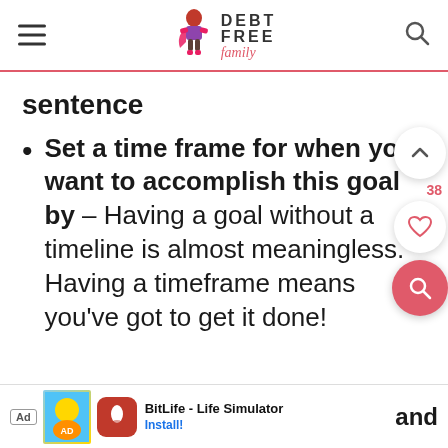[Figure (logo): Debt Free Family logo with stylized superhero woman figure and brand name text]
sentence
Set a time frame for when you want to accomplish this goal by – Having a goal without a timeline is almost meaningless. Having a timeframe means you've got to get it done!
[Figure (screenshot): BitLife - Life Simulator ad banner with install button]